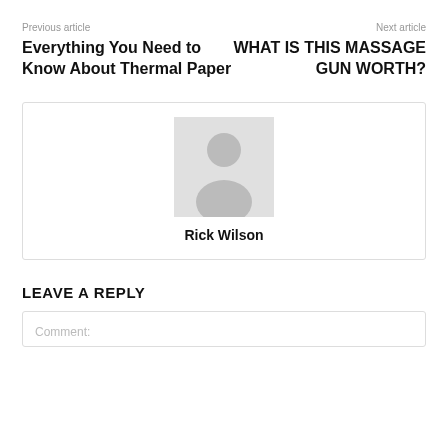Previous article
Next article
Everything You Need to Know About Thermal Paper
WHAT IS THIS MASSAGE GUN WORTH?
[Figure (illustration): Default avatar placeholder showing a silhouette of a person on a grey background]
Rick Wilson
LEAVE A REPLY
Comment: